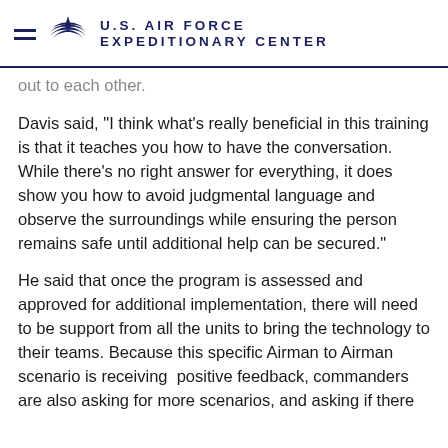U.S. AIR FORCE EXPEDITIONARY CENTER
out to each other.
Davis said, “I think what’s really beneficial in this training is that it teaches you how to have the conversation.  While there’s no right answer for everything, it does show you how to avoid judgmental language and observe the surroundings while ensuring the person remains safe until additional help can be secured.”
He said that once the program is assessed and approved for additional implementation, there will need to be support from all the units to bring the technology to their teams.  Because this specific Airman to Airman scenario is receiving  positive feedback, commanders are also asking for more scenarios, and asking if there